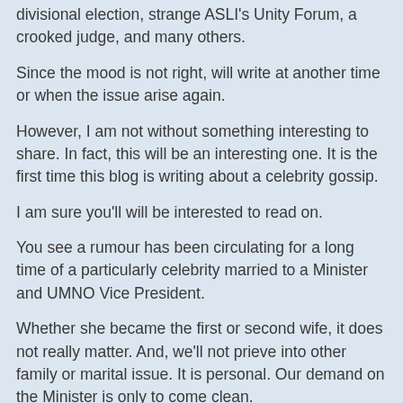divisional election, strange ASLI's Unity Forum, a crooked judge, and many others.
Since the mood is not right, will write at another time or when the issue arise again.
However, I am not without something interesting to share. In fact, this will be an interesting one. It is the first time this blog is writing about a celebrity gossip.
I am sure you'll will be interested to read on.
You see a rumour has been circulating for a long time of a particularly celebrity married to a Minister and UMNO Vice President.
Whether she became the first or second wife, it does not really matter. And, we'll not prieve into other family or marital issue. It is personal. Our demand on the Minister is only to come clean.
The celebrity talked about is Zahida Rafik. I have no idea